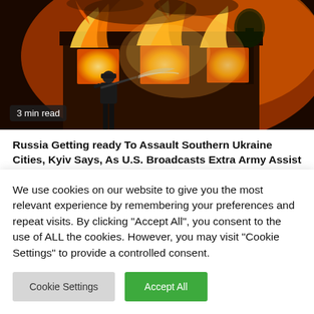[Figure (photo): Firefighter silhouetted against a building engulfed in intense orange flames, spraying water on the fire. Dramatic fire scene at night or dusk.]
3 min read
Russia Getting ready To Assault Southern Ukraine Cities, Kyiv Says, As U.S. Broadcasts Extra Army Assist
4 weeks ago   iasahacklink
We use cookies on our website to give you the most relevant experience by remembering your preferences and repeat visits. By clicking "Accept All", you consent to the use of ALL the cookies. However, you may visit "Cookie Settings" to provide a controlled consent.